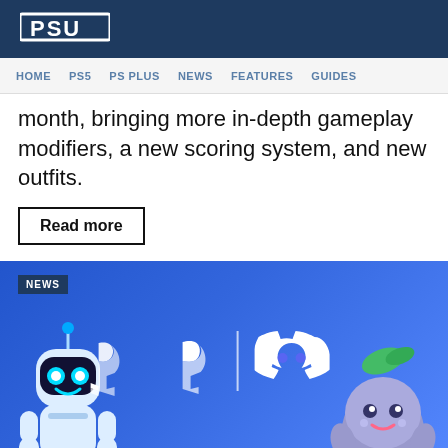PSU
HOME  PS5  PS PLUS  NEWS  FEATURES  GUIDES
month, bringing more in-depth gameplay modifiers, a new scoring system, and new outfits.
Read more
[Figure (photo): PlayStation and Discord partnership image featuring Astro Bot character on the left, PlayStation and Discord logos in the center with a vertical separator, and a Discord blob mascot character on the right, all on a blue gradient background with a NEWS tag in the top left corner.]